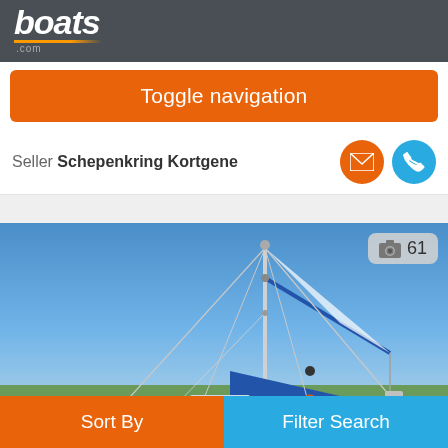boats .com
Toggle navigation
Seller Schepenkring Kortgene
[Figure (photo): Photograph of a white sailboat with blue sails/cover and tall mast against a clear blue sky, moored on calm water with green trees in background. Photo count badge shows 61.]
Sort By   Filter Search